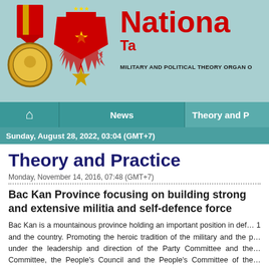[Figure (logo): Website header banner with two Vietnamese military medals on left, and red bold text 'Nationa...' and 'Ta...' on right, subtitle 'MILITARY AND POLITICAL THEORY ORGAN O...' on teal background]
News | Theory and P...
Sunday, August 28, 2022, 03:04 (GMT+7)
Theory and Practice
Monday, November 14, 2016, 07:48 (GMT+7)
Bac Kan Province focusing on building strong and extensive militia and self-defence force
Bac Kan is a mountainous province holding an important position in defence of Military Region 1 and the country. Promoting the heroic tradition of the military and the people of the province, under the leadership and direction of the Party Committee and the Military Region Party Committee, the People's Council and the People's Committee of the province have always focused on building strong and extensive militia and self-defence forces, raising the quality and strength of the armed forces and consolidating the defensive area of the province.